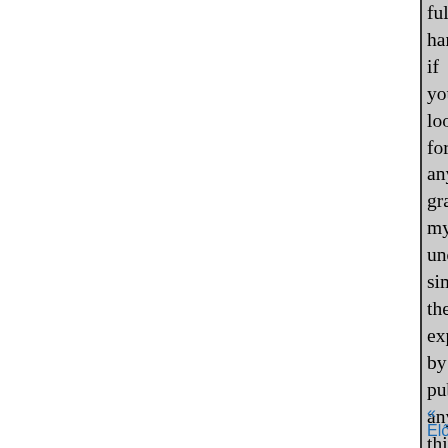full hand, if you look for any gra my undissembled simplicity, the expect, by publishing any thing, ugly, pale Spaniard, who, with hi What?' answered Necessity : 'hu by all laudable means endeavour which the one saying stopped the
Thus, being past shame, I do set carping criticks. But, me. thinks,
It is not worth our while to tak law.'
Wherefore, most noble, puissa my tutelar angels, in regard that, protection and benign generosity If any thing therein be amiss, I c upon it as a testimony of my un.
SIR, I am certified by your let Italy, and Germany; adding furth
« Előző